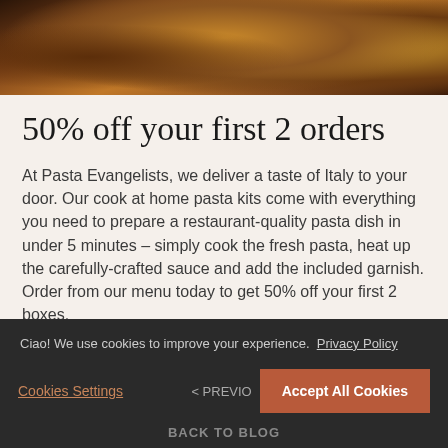[Figure (photo): Close-up food photo of a cooked pasta or meat dish in a dark pan, with golden-brown potato or gnocchi pieces and garnish in warm amber tones]
50% off your first 2 orders
At Pasta Evangelists, we deliver a taste of Italy to your door. Our cook at home pasta kits come with everything you need to prepare a restaurant-quality pasta dish in under 5 minutes – simply cook the fresh pasta, heat up the carefully-crafted sauce and add the included garnish.
Order from our menu today to get 50% off your first 2 boxes.
CLAIM NOW
Ciao! We use cookies to improve your experience. Privacy Policy
Cookies Settings
< PREVIO...
Accept All Cookies
BACK TO BLOG